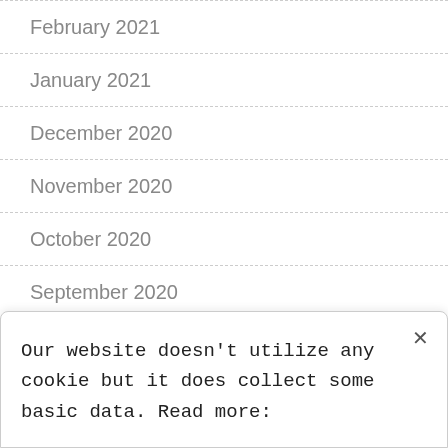February 2021
January 2021
December 2020
November 2020
October 2020
September 2020
August 2020
July 2020
June 2020
Our website doesn't utilize any cookie but it does collect some basic data. Read more: